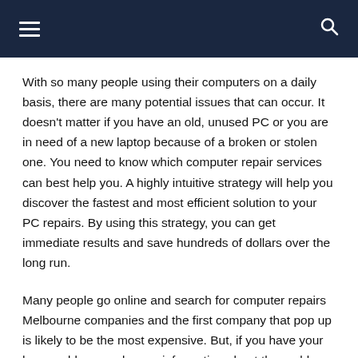≡  🔍
With so many people using their computers on a daily basis, there are many potential issues that can occur. It doesn't matter if you have an old, unused PC or you are in need of a new laptop because of a broken or stolen one. You need to know which computer repair services can best help you. A highly intuitive strategy will help you discover the fastest and most efficient solution to your PC repairs. By using this strategy, you can get immediate results and save hundreds of dollars over the long run.
Many people go online and search for computer repairs Melbourne companies and the first company that pop up is likely to be the most expensive. But, if you have your home address and some information about the problem, you can give them a call and find out if it is something that can be fixed for less money. You can also tell them what hardware and software you have and let them recommend solutions. This minimizes the time it takes for them to